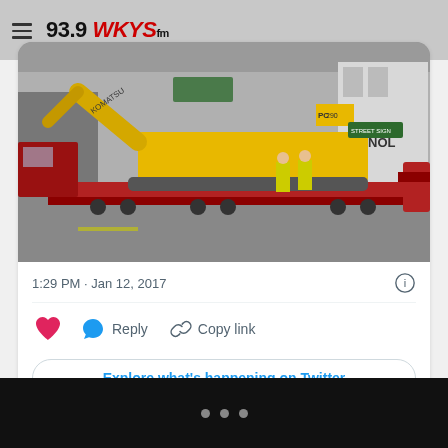93.9 WKYS
[Figure (photo): Komatsu PC290 excavator on a flatbed low-boy trailer being transported on a street, with workers in hi-vis vests standing nearby. A red bucket attachment is visible on the right side.]
1:29 PM · Jan 12, 2017
Reply   Copy link
Explore what's happening on Twitter